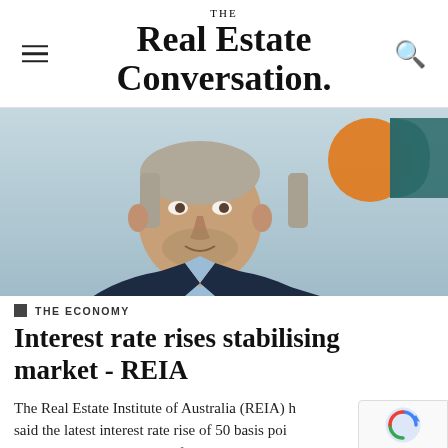THE Real Estate Conversation.
[Figure (photo): Headshot of a middle-aged man with grey-blond hair wearing a dark navy suit jacket and light blue shirt, speaking; background has an orange and teal circular logo/graphic.]
THE ECONOMY
Interest rate rises stabilising market - REIA
The Real Estate Institute of Australia (REIA) h said the latest interest rate rise of 50 basis poi to 1.85 per cent is likely to further subdue the